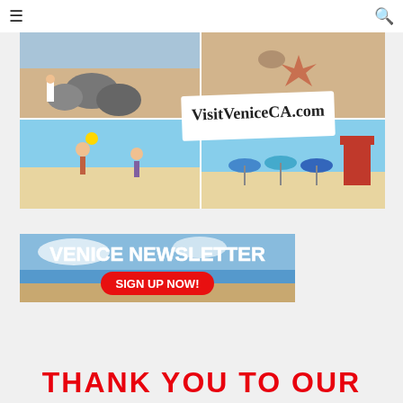≡ [hamburger menu] | [search icon]
[Figure (photo): Collage of Venice Beach photos with 'VisitVeniceCA.com' overlay text. Shows beach scenes with rocks, tourists, a woman playing paddle ball, beach umbrellas, and lifeguard tower.]
[Figure (photo): Venice Newsletter advertisement banner with blue sky background, white bold text 'VENICE NEWSLETTER' and a red rounded button 'SIGN UP NOW!']
THANK YOU TO OUR